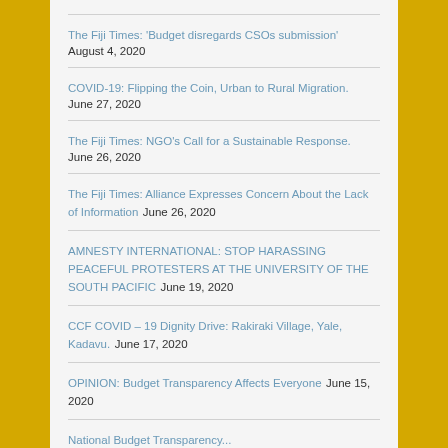The Fiji Times: 'Budget disregards CSOs submission' August 4, 2020
COVID-19: Flipping the Coin, Urban to Rural Migration. June 27, 2020
The Fiji Times: NGO's Call for a Sustainable Response. June 26, 2020
The Fiji Times: Alliance Expresses Concern About the Lack of Information June 26, 2020
AMNESTY INTERNATIONAL: STOP HARASSING PEACEFUL PROTESTERS AT THE UNIVERSITY OF THE SOUTH PACIFIC June 19, 2020
CCF COVID – 19 Dignity Drive: Rakiraki Village, Yale, Kadavu. June 17, 2020
OPINION: Budget Transparency Affects Everyone June 15, 2020
National Budget Transparency...